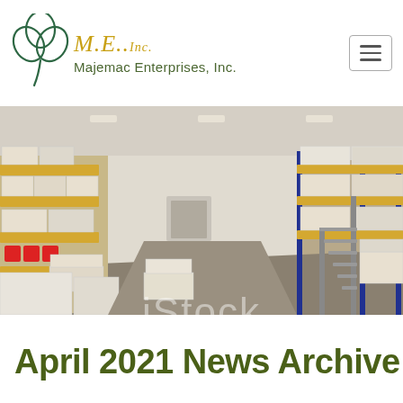[Figure (logo): Majemac Enterprises Inc. logo with shamrock/clover in dark teal outline and cursive M.E..Inc. text in gold with company name in olive green]
[Figure (photo): Interior of a large warehouse with tall shelving racks loaded with palleted boxes and goods, metal stairs on the right side, iStock watermark visible]
April 2021 News Archive